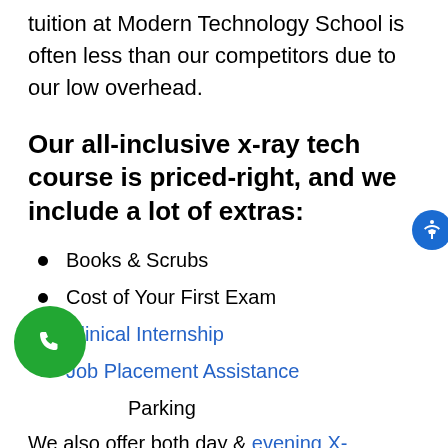tuition at Modern Technology School is often less than our competitors due to our low overhead.
Our all-inclusive x-ray tech course is priced-right, and we include a lot of extras:
Books & Scrubs
Cost of Your First Exam
Clinical Internship
Job Placement Assistance
Parking
We also offer both day & evening X-